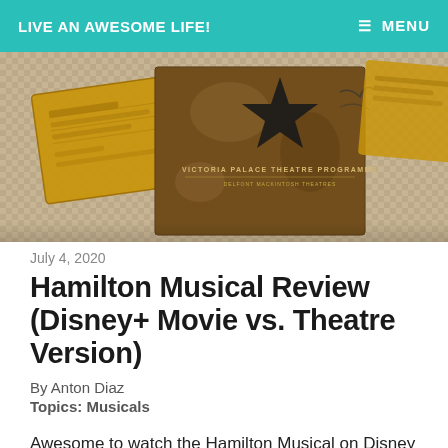LIVE AN AWESOME LIFE!  ≡ MENU
[Figure (photo): Photo of Hamilton musical theatre programme and tickets with golden/brown worn appearance, showing Victoria Palace Theatre Programme text and a star logo on the programme cover, placed on a woven surface]
July 4, 2020
Hamilton Musical Review (Disney+ Movie vs. Theatre Version)
By Anton Diaz
Topics: Musicals
Awesome to watch the Hamilton Musical on Disney Plus performed by the original cast led by Lin-Manuel